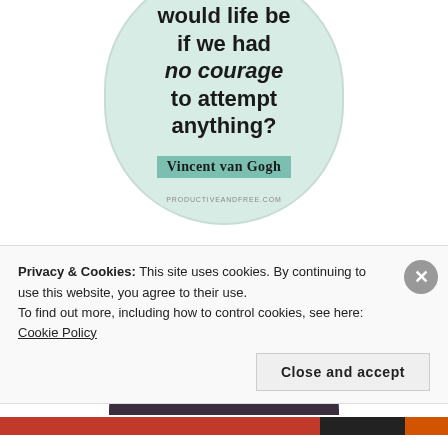[Figure (illustration): A rounded pill/bookmark shaped quote card with light mint green background containing a quote about courage attributed to Vincent van Gogh, with the author name on a teal highlight strip, and website productiveandfree.com at bottom. Below it, a dark purple semicircle is partially visible.]
Privacy & Cookies: This site uses cookies. By continuing to use this website, you agree to their use.
To find out more, including how to control cookies, see here: Cookie Policy
Close and accept